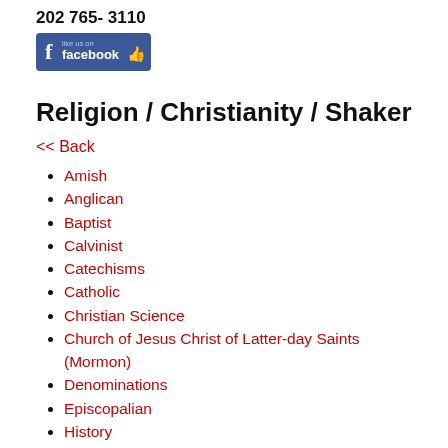202 765- 3110
[Figure (logo): Facebook 'Like us on facebook' badge with thumbs up icon, blue background]
Religion / Christianity / Shaker
<< Back
Amish
Anglican
Baptist
Calvinist
Catechisms
Catholic
Christian Science
Church of Jesus Christ of Latter-day Saints (Mormon)
Denominations
Episcopalian
History
Jehovah's Witnesses
Literature & the Arts